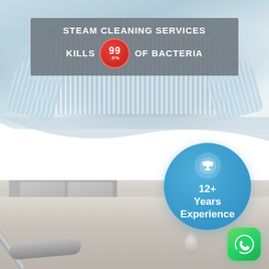[Figure (photo): Person in light blue striped shirt with arms crossed, sitting on a white couch/sofa — top half of page background photo]
STEAM CLEANING SERVICES KILLS 99.9% OF BACTERIA
[Figure (photo): Close-up photo of a vacuum cleaner / steam cleaner head on a light-colored carpet, with sofa legs visible in background]
[Figure (infographic): Blue circle badge with trophy icon and text: 12+ Years Experience]
[Figure (logo): WhatsApp green rounded square icon in bottom-right corner]